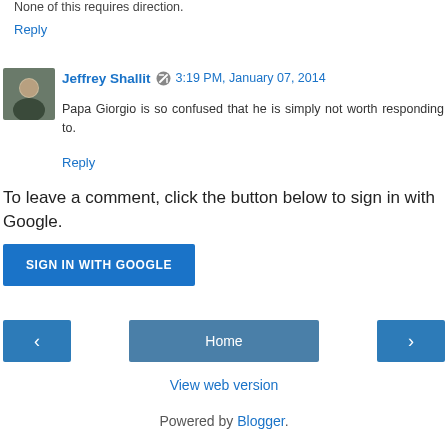None of this requires direction.
Reply
Jeffrey Shallit  3:19 PM, January 07, 2014
Papa Giorgio is so confused that he is simply not worth responding to.
Reply
To leave a comment, click the button below to sign in with Google.
SIGN IN WITH GOOGLE
Home
View web version
Powered by Blogger.